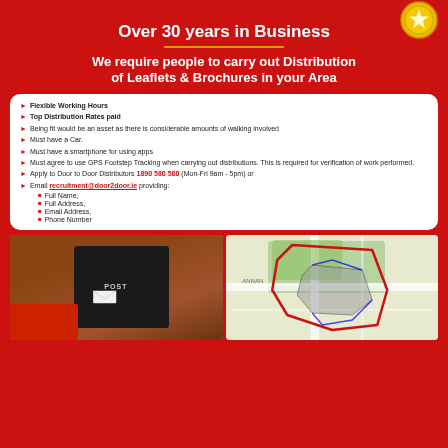Over 30 years in Business
We require people to carry out Distribution of Leaflets & Brochures in your Area
Flexible Working Hours
Top Distribution Rates paid
Being fit would be an asset as there is considerable amounts of walking involved
Must have a Car.
Must have a smartphone for using apps
Must agree to use GPS Footstep Tracking when carrying out distributions. This is required for verification of work performed.
Apply to Door to Door Distributors 1890 580 580 (Mon-Fri 9am - 5pm) or
Email recruitment@door2door.ie providing: Full Name, Full Address, Email Address, Phone Number
[Figure (photo): Person in red sleeve posting a leaflet into a black POST box mounted on a brick wall]
[Figure (map): Street map showing a distribution route with coloured boundaries overlaid on a local area map]